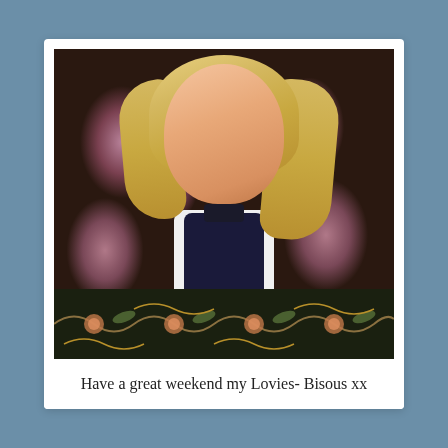[Figure (photo): A blonde woman smiling at the camera, wearing a dark floral tapestry jacket over a white shirt with a bow tie and an argyle vest. She has her arms crossed. The bottom of the image shows an elaborate embroidered floral band. The background shows a white door with a gold wall sconce.]
Have a great weekend my Lovies- Bisous xx